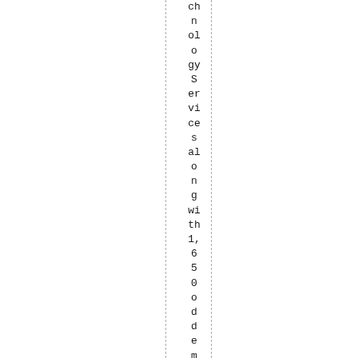ch n ol o gy S er vi ce s al o n g wi th 1, 6 5 0 o d d e m pl oy e es w